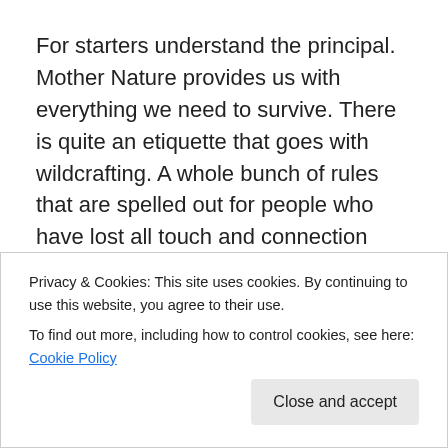For starters understand the principal. Mother Nature provides us with everything we need to survive. There is quite an etiquette that goes with wildcrafting.  A whole bunch of rules that are spelled out for people who have lost all touch and connection with their roots. What once was obvious natural behavior practiced by indigenous people whose life depended on knowing the rules has become a lost art.  Here are the rules. http://home.klis.com/~chebogue/p.conWild.html Read them and understand them before you head out into the
Privacy & Cookies: This site uses cookies. By continuing to use this website, you agree to their use.
To find out more, including how to control cookies, see here: Cookie Policy